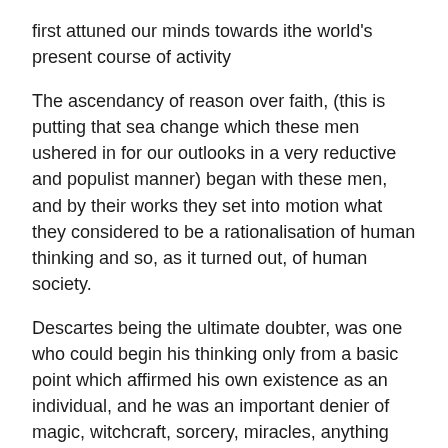first attuned our minds towards ithe world's present course of activity
The ascendancy of reason over faith, (this is putting that sea change which these men ushered in for our outlooks in a very reductive and populist manner) began with these men, and by their works they set into motion what they considered to be a rationalisation of human thinking and so, as it turned out, of human society.
Descartes being the ultimate doubter, was one who could begin his thinking only from a basic point which affirmed his own existence as an individual, and he was an important denier of magic, witchcraft, sorcery, miracles, anything supernatural and even merely fanciful; so much so that I believe it was a compatriot of his of the following century who said of him that his work had “cut the throat of poetry”.